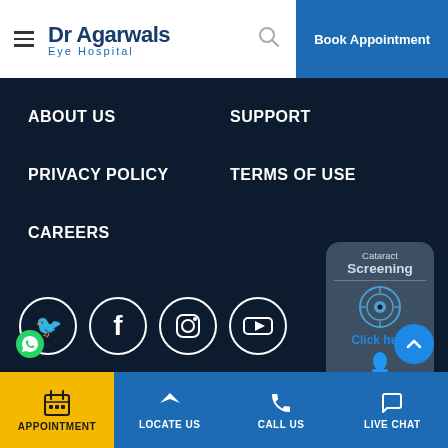[Figure (logo): Dr Agarwals Eye Hospital logo with hamburger menu and Book Appointment button]
ABOUT US
SUPPORT
PRIVACY POLICY
TERMS OF USE
CAREERS
[Figure (infographic): Cataract Screening popup with eye icon and Click here link]
[Figure (illustration): Social media icons: Twitter/WhatsApp, Facebook, Instagram, YouTube in circles]
APPOINTMENT | LOCATE US | CALL US | LIVE CHAT